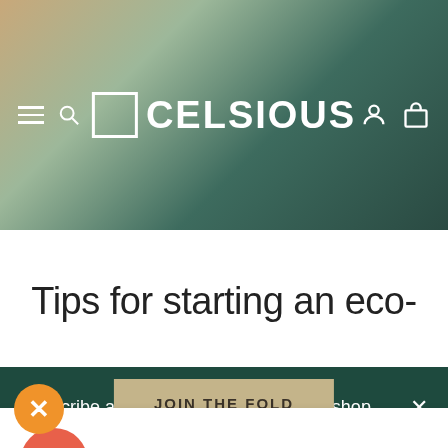[Figure (screenshot): Celsious website header with gradient background (tan to dark green), hamburger menu icon, search icon on left, Celsious logo (white square outline + CELSIOUS text) centered, user and bag icons on right]
Tips for starting an eco-
Subscribe and receive 10% off the webshop
Free U.S. shipping on $50+ orders!
Type your email
JOIN THE FOLD